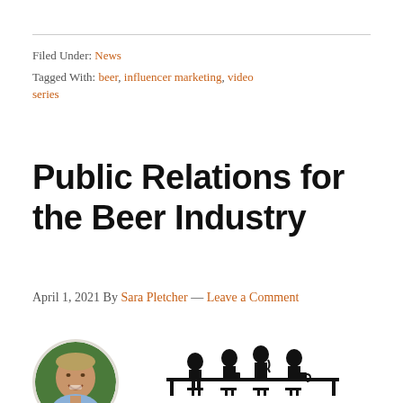Filed Under: News
Tagged With: beer, influencer marketing, video series
Public Relations for the Beer Industry
April 1, 2021 By Sara Pletcher — Leave a Comment
[Figure (photo): Circular headshot of a smiling man outdoors with green background, and a podcast logo graphic for 'Successful Marketing with Allan Wright' showing silhouettes of people at a bar/counter.]